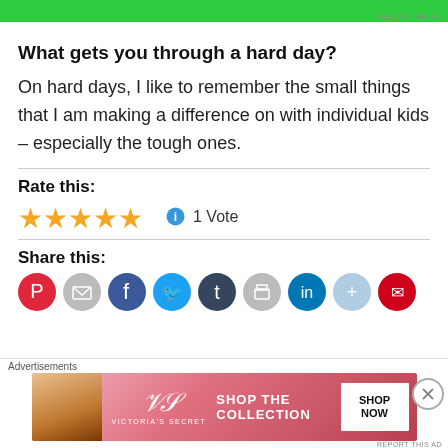[Figure (other): Green advertisement banner at the top of page]
What gets you through a hard day?
On hard days, I like to remember the small things that I am making a difference on with individual kids – especially the tough ones.
Rate this:
[Figure (other): Five gold stars rating widget with info icon and '1 Vote' label]
Share this:
[Figure (other): Row of social sharing icon circles (Pinterest, email, Facebook, Twitter, Tumblr, print, LinkedIn, and more)]
[Figure (other): Victoria's Secret advertisement banner at the bottom: Shop The Collection, Shop Now button]